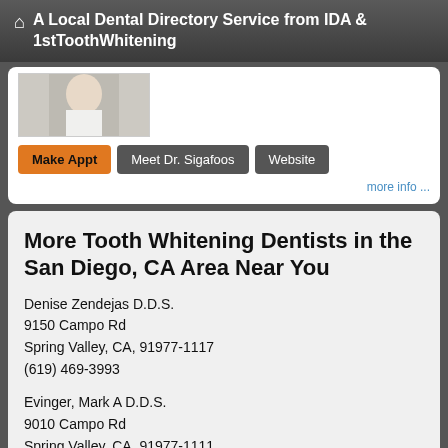A Local Dental Directory Service from IDA & 1stToothWhitening
[Figure (photo): Partial image of a person, likely a dental professional]
Make Appt  Meet Dr. Sigafoos  Website
more info ...
More Tooth Whitening Dentists in the San Diego, CA Area Near You
Denise Zendejas D.D.S.
9150 Campo Rd
Spring Valley, CA, 91977-1117
(619) 469-3993
Evinger, Mark A D.D.S.
9010 Campo Rd
Spring Valley, CA, 91977-1111
D... A... N... F...